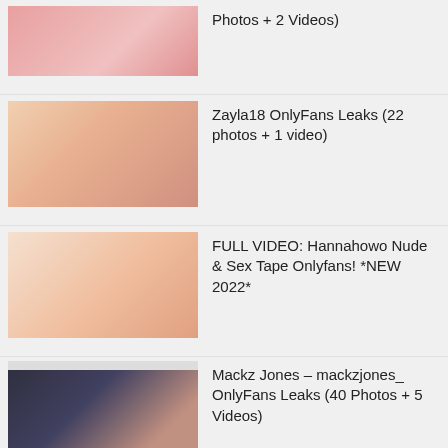Photos + 2 Videos)
Zayla18 OnlyFans Leaks (22 photos + 1 video)
FULL VIDEO: Hannahowo Nude & Sex Tape Onlyfans! *NEW 2022*
Mackz Jones – mackzjones_ OnlyFans Leaks (40 Photos + 5 Videos)
Nala Leaks (47 Photos + 4 Videos)